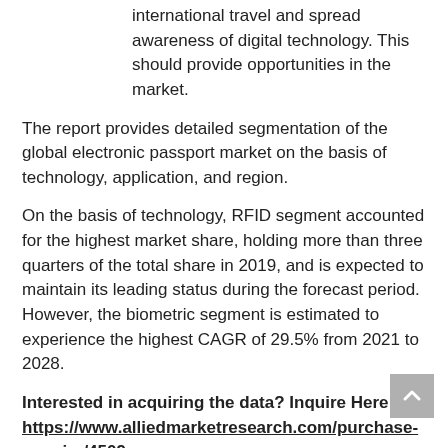international travel and spread awareness of digital technology. This should provide opportunities in the market.
The report provides detailed segmentation of the global electronic passport market on the basis of technology, application, and region.
On the basis of technology, RFID segment accounted for the highest market share, holding more than three quarters of the total share in 2019, and is expected to maintain its leading status during the forecast period. However, the biometric segment is estimated to experience the highest CAGR of 29.5% from 2021 to 2028.
Interested in acquiring the data? Inquire Here @ https://www.alliedmarketresearch.com/purchase-enquiry/4509
On the basis of applications, the leisure travel segment